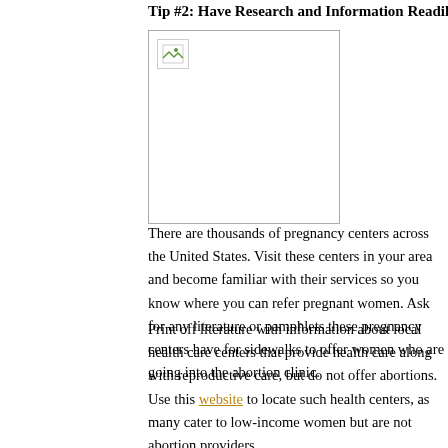Tip #2: Have Research and Information Readily Available
[Figure (photo): Broken/missing image placeholder with a small icon in the top-left corner, inside a thin rectangular border]
There are thousands of pregnancy centers across the United States. Visit these centers in your area and become familiar with their services so you know where you can refer pregnant women. Ask for any literature or pamphlets these pregnancy centers have for sidewalks to offer women who are going into the abortion clinic.
Print off literature with information about local health care centers that provide health care along with reproductive care, but do not offer abortions. Use this website to locate such health centers, as many cater to low-income women but are not abortion providers.